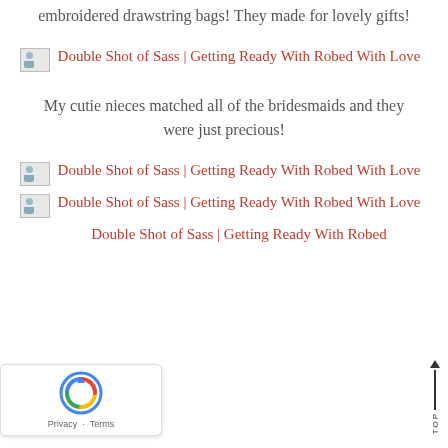embroidered drawstring bags! They made for lovely gifts!
[Figure (other): Small broken image icon placeholder]
Double Shot of Sass | Getting Ready With Robed With Love
My cutie nieces matched all of the bridesmaids and they were just precious!
[Figure (other): Small broken image icon placeholder]
Double Shot of Sass | Getting Ready With Robed With Love
[Figure (other): Small broken image icon placeholder]
Double Shot of Sass | Getting Ready With Robed With Love
[Figure (other): Small broken image icon placeholder]
Double Shot of Sass | Getting Ready With Robed With Love